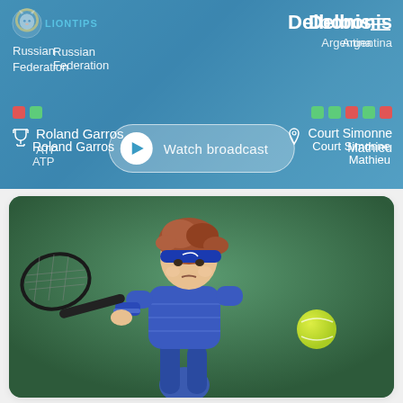[Figure (screenshot): Tennis match broadcast card showing match between a Russian Federation player and Delbonis from Argentina at Roland Garros ATP on Court Simonne Mathieu, with a Watch broadcast button. LionTips logo visible.]
Russian Federation
Delbonis
Argentina
Roland Garros
ATP
Court Simonne Mathieu
Watch broadcast
[Figure (photo): Tennis player with reddish-brown hair wearing a blue Nike headband and blue outfit, hitting a backhand shot with a racket, with a tennis ball visible on the right side. Background is a green tennis court.]